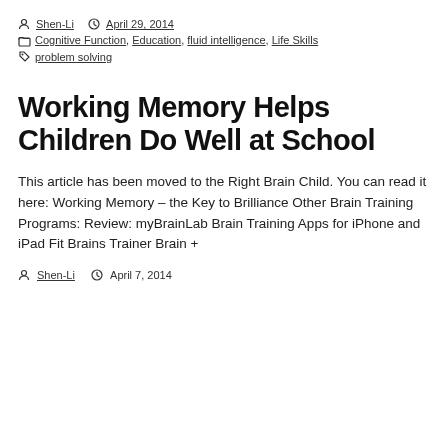By Shen-Li   April 29, 2014
Cognitive Function, Education, fluid intelligence, Life Skills
problem solving
Working Memory Helps Children Do Well at School
This article has been moved to the Right Brain Child. You can read it here: Working Memory – the Key to Brilliance Other Brain Training Programs: Review: myBrainLab Brain Training Apps for iPhone and iPad Fit Brains Trainer Brain +
Shen-Li   April 7, 2014